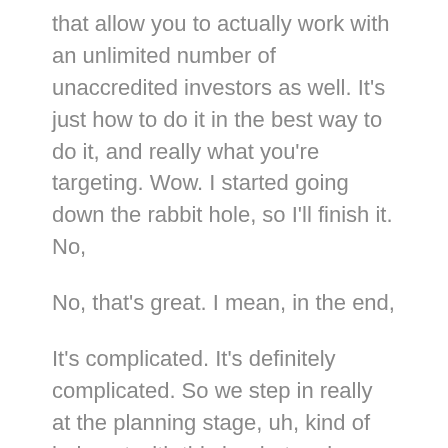that allow you to actually work with an unlimited number of unaccredited investors as well. It's just how to do it in the best way to do it, and really what you're targeting. Wow. I started going down the rabbit hole, so I'll finish it. No,
No, that's great. I mean, in the end,
It's complicated. It's definitely complicated. So we step in really at the planning stage, uh, kind of help out with this is what makes sense. This is what we would suggest you do. Uh, ultimately at the end of the day, it's a client's decision. Uh, but from there we just kind of walked through the process and we do so many of, uh, funds and syndications and property acquisitions. We really got the system down, uh, as well as with crowdfunding lawyers, we've got really an amazing team of, uh, just their